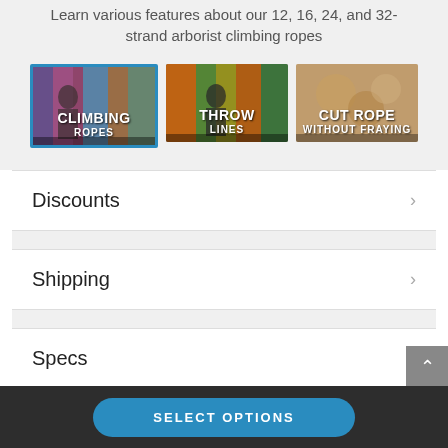Learn various features about our 12, 16, 24, and 32-strand arborist climbing ropes
[Figure (screenshot): Video thumbnail for Climbing Ropes with colorful rope spools in background, text reads CLIMBING ROPES]
[Figure (screenshot): Video thumbnail for Throw Lines with colorful ropes in background, text reads THROW LINES]
[Figure (screenshot): Video thumbnail for Cut Rope Without Fraying showing rope close-up, text reads CUT ROPE WITHOUT FRAYING]
Discounts
Shipping
Specs
SELECT OPTIONS